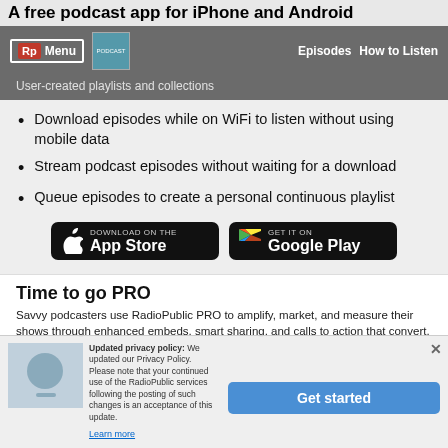A free podcast app for iPhone and Android
User-created playlists and collections
Download episodes while on WiFi to listen without using mobile data
Stream podcast episodes without waiting for a download
Queue episodes to create a personal continuous playlist
[Figure (screenshot): Download on the App Store button]
[Figure (screenshot): Get it on Google Play button]
Time to go PRO
Savvy podcasters use RadioPublic PRO to amplify, market, and measure their shows through enhanced embeds, smart sharing, and calls to action that convert.
Updated privacy policy: We updated our Privacy Policy. Please note that your continued use of the RadioPublic services following the posting of such changes is an acceptance of this update.
Learn more
Get started